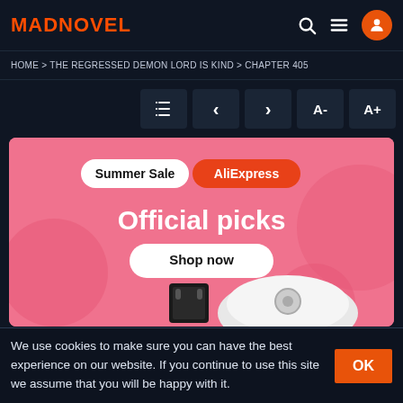MADNOVEL
HOME > THE REGRESSED DEMON LORD IS KIND > CHAPTER 405
[Figure (screenshot): Navigation buttons: list, left arrow, right arrow, A-, A+]
[Figure (infographic): AliExpress Summer Sale ad banner: 'Summer Sale AliExpress Official picks Shop now' with image of robot vacuum and other products on pink background]
We use cookies to make sure you can have the best experience on our website. If you continue to use this site we assume that you will be happy with it.